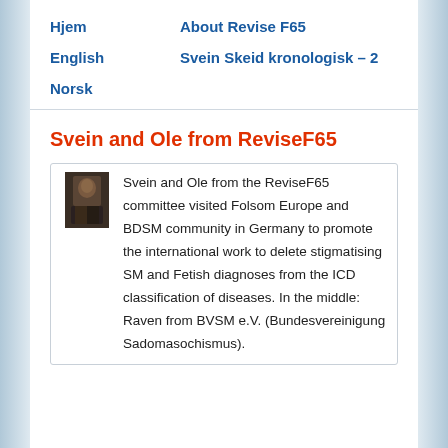Hjem    About Revise F65
English    Svein Skeid kronologisk – 2
Norsk
Svein and Ole from ReviseF65
[Figure (photo): Small photograph of two people]
Svein and Ole from the ReviseF65 committee visited Folsom Europe and BDSM community in Germany to promote the international work to delete stigmatising SM and Fetish diagnoses from the ICD classification of diseases. In the middle: Raven from BVSM e.V. (Bundesvereinigung Sadomasochismus).